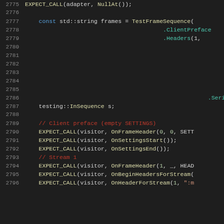[Figure (screenshot): Source code viewer showing C++ test code lines 2775-2796 with syntax highlighting on dark background. Lines show TestFrameSequence builder pattern, testing::InSequence, and EXPECT_CALL statements for HTTP/2 frame visitor testing.]